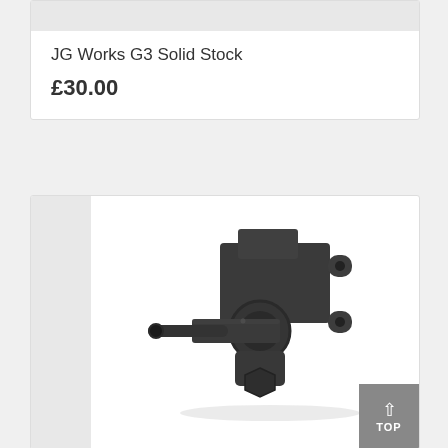JG Works G3 Solid Stock
£30.00
[Figure (photo): Photo of a dark grey/black airsoft gun hop-up or gearbox component, showing a cylindrical barrel extension and rectangular body with mounting tabs, viewed from a front-left angle against a white background.]